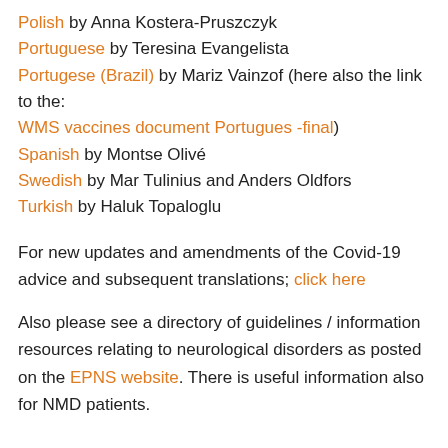Polish by Anna Kostera-Pruszczyk
Portuguese by Teresina Evangelista
Portugese (Brazil) by Mariz Vainzof (here also the link to the: WMS vaccines document Portugues -final)
Spanish by Montse Olivé
Swedish by Mar Tulinius and Anders Oldfors
Turkish by Haluk Topaloglu
For new updates and amendments of the Covid-19 advice and subsequent translations; click here
Also please see a directory of guidelines / information resources relating to neurological disorders as posted on the EPNS website. There is useful information also for NMD patients.
This site uses cookies. By continuing to browse the site, you are agreeing to our use of cookies.
OK
×